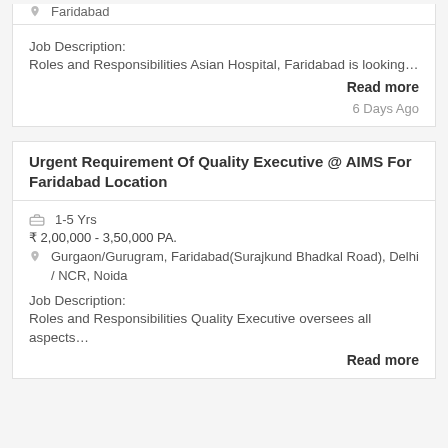Faridabad
Job Description: Roles and Responsibilities Asian Hospital, Faridabad is looking…
Read more
6 Days Ago
Urgent Requirement Of Quality Executive @ AIMS For Faridabad Location
1-5 Yrs
₹ 2,00,000 - 3,50,000 PA.
Gurgaon/Gurugram, Faridabad(Surajkund Bhadkal Road), Delhi / NCR, Noida
Job Description: Roles and Responsibilities Quality Executive oversees all aspects…
Read more